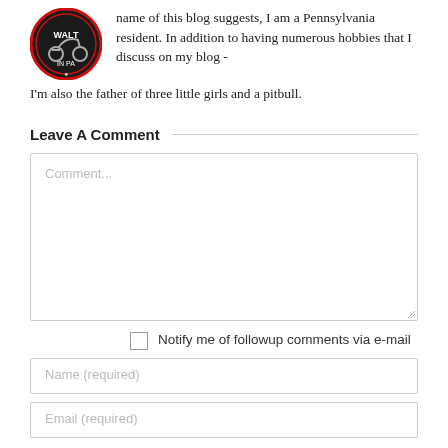name of this blog suggests, I am a Pennsylvania resident. In addition to having numerous hobbies that I discuss on my blog - I'm also the father of three little girls and a pitbull.
Leave A Comment
Comment...
Notify me of followup comments via e-mail
Name (required)
Email (required)